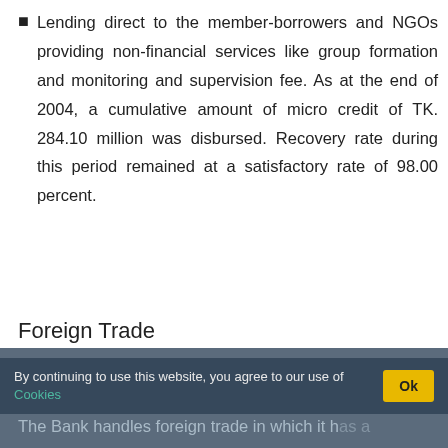Lending direct to the member-borrowers and NGOs providing non-financial services like group formation and monitoring and supervision fee. As at the end of 2004, a cumulative amount of micro credit of TK. 284.10 million was disbursed. Recovery rate during this period remained at a satisfactory rate of 98.00 percent.
Foreign Trade
The Bank handles foreign trade in which it has a comparatively large share despite it's small size. BASIC provides various facilities related to L/C and post import finance like loan against imported merchandise (LIM) and loan against trust receipt